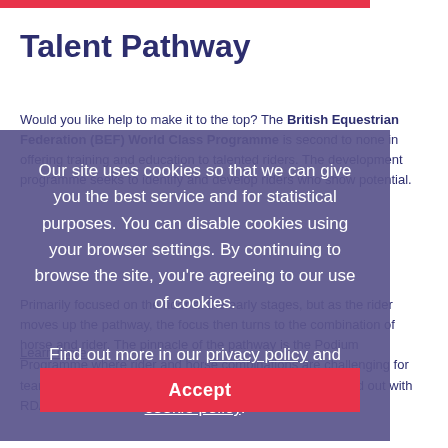Talent Pathway
Would you like help to make it to the top? The British Equestrian Federation (BEF) World Class Programme is second to none in offering training and education to talented riders. The development programme seeks to identify and develop riders who show potential.
Our site uses cookies so that we can give you the best service and for statistical purposes. You can disable cookies using your browser settings. By continuing to browse the site, you're agreeing to our use of cookies. Find out more in our privacy policy and cookie policy.
Learn more
Accept
Primarily focused on the rider at the early stages, but as the rider moves up the pathway, the focus then turns to the combination of horse and rider. The pinnacle of the pathway is the Podium Programme where rider and horse combinations are challenging for team positions! Many of our top Podium riders today started out with RDA and